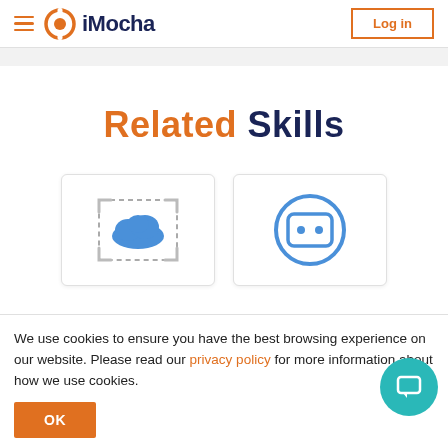iMocha | Log in
Related Skills
[Figure (illustration): Card with cloud icon inside a dashed/square frame representing Azure or cloud skills]
[Figure (illustration): Card with a chat/bot icon inside a circle representing chatbot or AI skills]
We use cookies to ensure you have the best browsing experience on our website. Please read our privacy policy for more information about how we use cookies.
OK